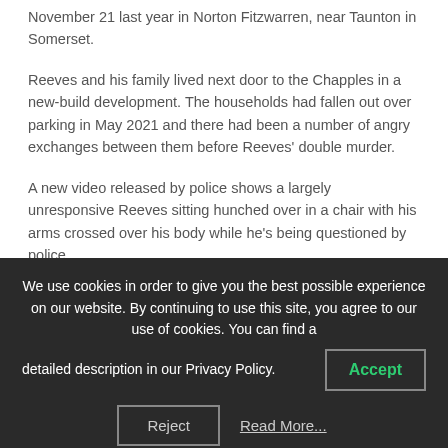November 21 last year in Norton Fitzwarren, near Taunton in Somerset.
Reeves and his family lived next door to the Chapples in a new-build development. The households had fallen out over parking in May 2021 and there had been a number of angry exchanges between them before Reeves' double murder.
A new video released by police shows a largely unresponsive Reeves sitting hunched over in a chair with his arms crossed over his body while he's being questioned by police.
We use cookies in order to give you the best possible experience on our website. By continuing to use this site, you agree to our use of cookies. You can find a detailed description in our Privacy Policy.